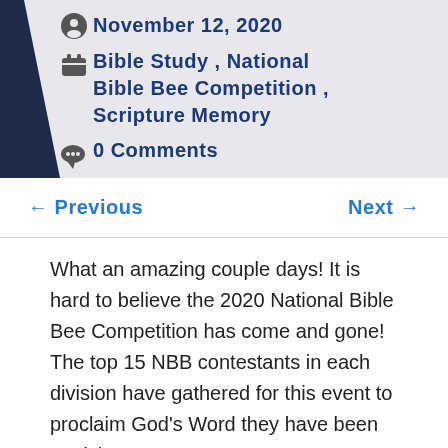November 12, 2020
Bible Study , National Bible Bee Competition , Scripture Memory
0 Comments
← Previous
Next →
What an amazing couple days! It is hard to believe the 2020 National Bible Bee Competition has come and gone! The top 15 NBB contestants in each division have gathered for this event to proclaim God's Word they have been studying over